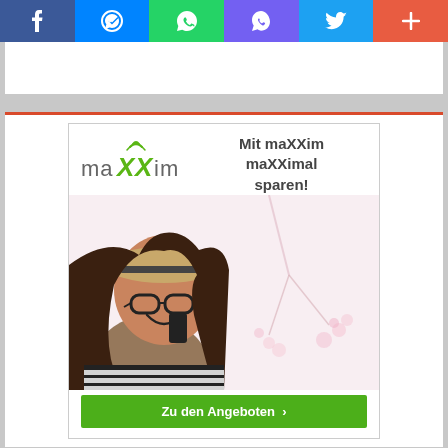[Figure (screenshot): Social media sharing toolbar with icons for Facebook, Messenger, WhatsApp, Viber, Twitter, and a plus/more button]
[Figure (infographic): maXXim mobile carrier advertisement. Logo top-left reads 'maXXim' with signal waves. Text reads 'Mit maXXim maXXimal sparen!' (Save maximally with maXXim!). Photo of a smiling young woman wearing a hat and glasses, talking on a phone. Green call-to-action button reads 'Zu den Angeboten >' (To the offers).]